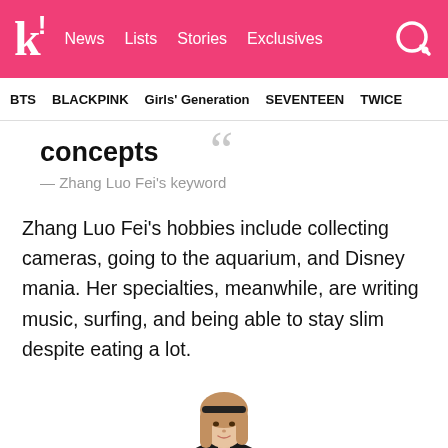k! News  Lists  Stories  Exclusives
BTS  BLACKPINK  Girls' Generation  SEVENTEEN  TWICE
concepts
— Zhang Luo Fei's keyword
Zhang Luo Fei's hobbies include collecting cameras, going to the aquarium, and Disney mania. Her specialties, meanwhile, are writing music, surfing, and being able to stay slim despite eating a lot.
[Figure (photo): Photo of a young woman with long light brown hair and a dark headband, wearing a dark top, looking upward slightly, against a white background.]